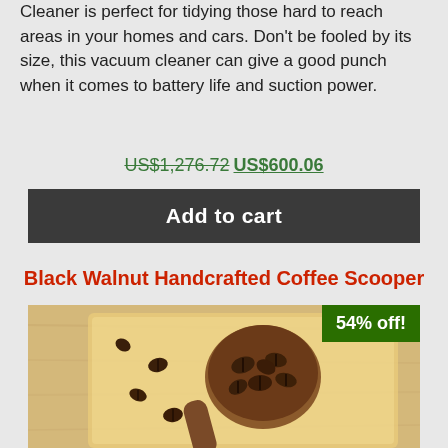Cleaner is perfect for tidying those hard to reach areas in your homes and cars. Don't be fooled by its size, this vacuum cleaner can give a good punch when it comes to battery life and suction power.
US$1,276.72 US$600.06
Add to cart
Black Walnut Handcrafted Coffee Scooper
[Figure (photo): A wooden coffee scooper filled with coffee beans on a light wood cutting board background, with a green '54% off!' badge in the top right corner.]